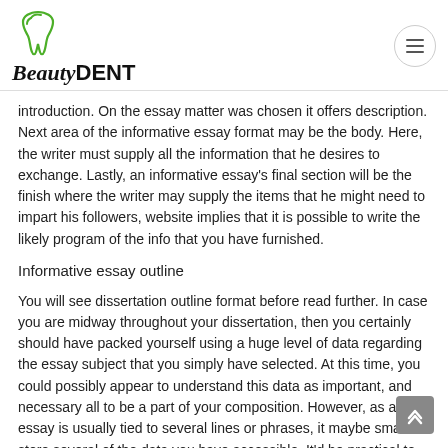[Figure (logo): BeautyDENT logo with green tooth icon above the text]
introduction. On the essay matter was chosen it offers description. Next area of the informative essay format may be the body. Here, the writer must supply all the information that he desires to exchange. Lastly, an informative essay's final section will be the finish where the writer may supply the items that he might need to impart his followers, website implies that it is possible to write the likely program of the info that you have furnished.
Informative essay outline
You will see dissertation outline format before read further. In case you are midway throughout your dissertation, then you certainly should have packed yourself using a huge level of data regarding the essay subject that you simply have selected. At this time, you could possibly appear to understand this data as important, and necessary all to be a part of your composition. However, as an essay is usually tied to several lines or phrases, it maybe smart to store several of the data you have accessible. It'd be practical to use